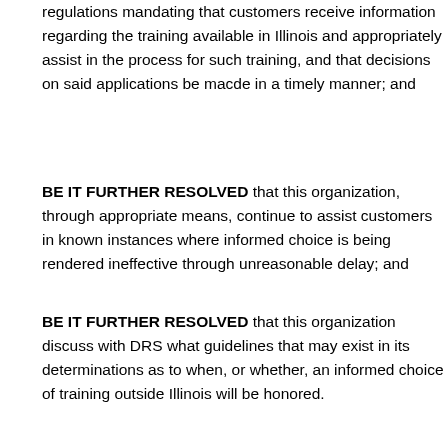regulations mandating that customers receive information regarding the training available in Illinois and appropriately assist in the process for such training, and that decisions on said applications be made in a timely manner; and
BE IT FURTHER RESOLVED that this organization, through appropriate means, continue to assist customers in known instances where informed choice is being rendered ineffective through unreasonable delay; and
BE IT FURTHER RESOLVED that this organization discuss what if any guidelines that may exist in its determinations as to when, or whether, an informed choice of training outside Illinois will be honored.
NFBI Resolution 2016-02 Department of Rehabilitation Services (Word format)
Resolution2016-03: Regarding AIM HE
WHEREAS, the National Federation of the Blind endeavors always